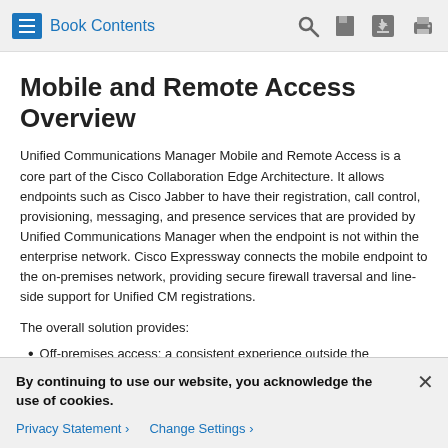Book Contents
Mobile and Remote Access Overview
Unified Communications Manager Mobile and Remote Access is a core part of the Cisco Collaboration Edge Architecture. It allows endpoints such as Cisco Jabber to have their registration, call control, provisioning, messaging, and presence services that are provided by Unified Communications Manager when the endpoint is not within the enterprise network. Cisco Expressway connects the mobile endpoint to the on-premises network, providing secure firewall traversal and line-side support for Unified CM registrations.
The overall solution provides:
Off-premises access: a consistent experience outside the
By continuing to use our website, you acknowledge the use of cookies.
Privacy Statement > Change Settings >